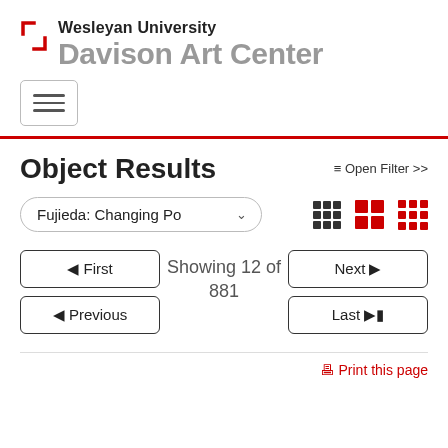Wesleyan University Davison Art Center
Object Results
≡ Open Filter >>
Fujieda: Changing Po
Showing 12 of 881
◀ First
◀ Previous
Next ▶
Last ▶|
Print this page